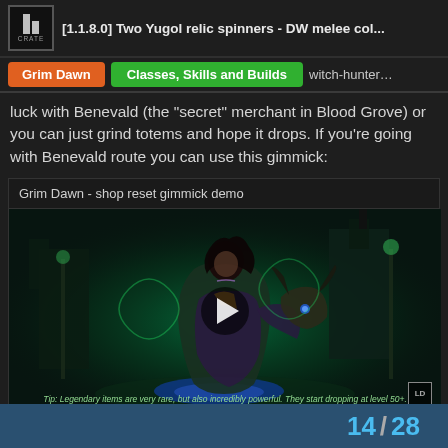[1.1.8.0] Two Yugol relic spinners - DW melee col...
Grim Dawn   Classes, Skills and Builds   witch-hunter...
luck with Benevald (the "secret" merchant in Blood Grove) or you can just grind totems and hope it drops. If you're going with Benevald route you can use this gimmick:
[Figure (screenshot): Embedded video player showing 'Grim Dawn - shop reset gimmick demo' with a fantasy character artwork (a woman in dark clothing holding a glowing goat skull, surrounded by green magical energy and dark ruins). A play button is centered on the thumbnail. A tip text reads: 'Tip: Legendary items are very rare, but also incredibly powerful. They start dropping at level 50+.' A small logo icon appears in the bottom right.]
14 / 28